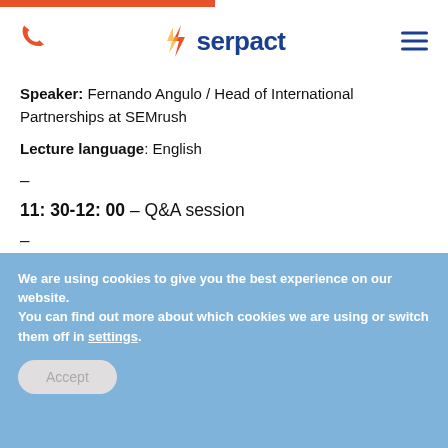Serpact — phone icon, logo, hamburger menu
Speaker: Fernando Angulo / Head of International Partnerships at SEMrush
Lecture language: English
–
11: 30-12: 00 – Q&A session
–
12: 00-12: 30 – Lunch break
We are using cookies to give you the best experience on our website.
You can find out more about which cookies we are using or switch them off in settings.